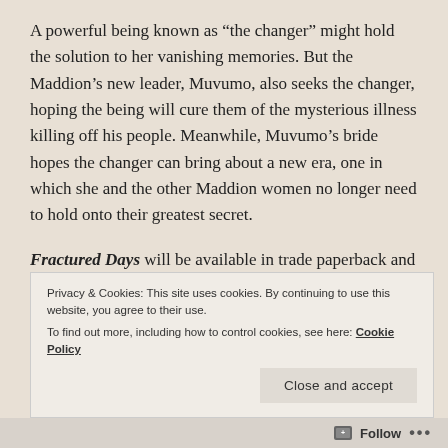A powerful being known as “the changer” might hold the solution to her vanishing memories. But the Maddion’s new leader, Muvumo, also seeks the changer, hoping the being will cure them of the mysterious illness killing off his people. Meanwhile, Muvumo’s bride hopes the changer can bring about a new era, one in which she and the other Maddion women no longer need to hold onto their greatest secret.
Fractured Days will be available in trade paperback and ebook via Amazon.com, Barnesandnoble.com, Kobo.com, WorldWeaverPress.com, and other online retailers, and for wholesale through Ingram. You can also find Fractured
Privacy & Cookies: This site uses cookies. By continuing to use this website, you agree to their use.
To find out more, including how to control cookies, see here: Cookie Policy
Close and accept
Follow